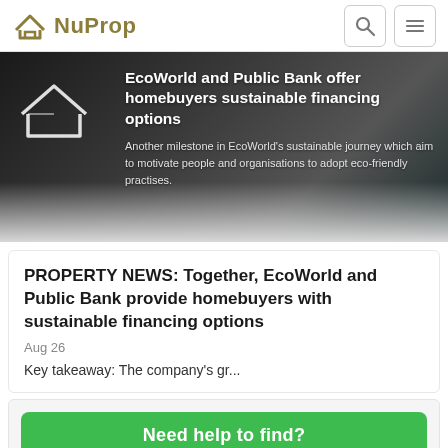NuProp
[Figure (photo): Hero banner image showing people at an event with overlay text about EcoWorld and Public Bank sustainable financing options]
PROPERTY NEWS: Together, EcoWorld and Public Bank provide homebuyers with sustainable financing options
Aug 26
Key takeaway: The company's gr...
Need help to find?